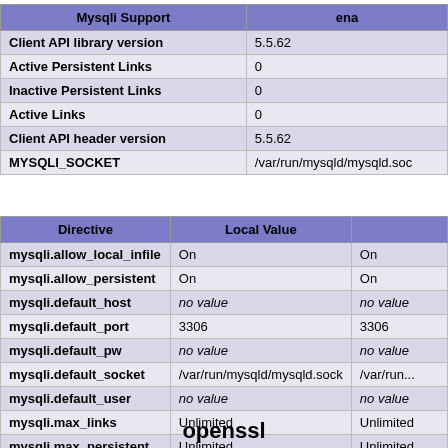| Mysqli Support | ena |
| --- | --- |
| Client API library version | 5.5.62 |
| Active Persistent Links | 0 |
| Inactive Persistent Links | 0 |
| Active Links | 0 |
| Client API header version | 5.5.62 |
| MYSQLI_SOCKET | /var/run/mysqld/mysqld.soc |
| Directive | Local Value |  |
| --- | --- | --- |
| mysqli.allow_local_infile | On | On |
| mysqli.allow_persistent | On | On |
| mysqli.default_host | no value | no value |
| mysqli.default_port | 3306 | 3306 |
| mysqli.default_pw | no value | no value |
| mysqli.default_socket | /var/run/mysqld/mysqld.sock | /var/run... |
| mysqli.default_user | no value | no value |
| mysqli.max_links | Unlimited | Unlimited |
| mysqli.max_persistent | Unlimited | Unlimited |
| mysqli.reconnect | Off | Off |
openssl